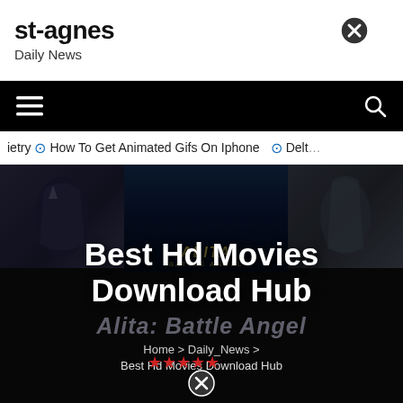st-agnes
Daily News
[Figure (screenshot): Close/X button circle icon at top right of header]
[Figure (screenshot): Black navigation bar with hamburger menu icon on left and search icon on right]
ietry  ⊙ How To Get Animated Gifs On Iphone  ⊙ Delt…
[Figure (screenshot): Hero banner with movie collage images including Alita: Battle Angel center logo, overlaid with dark overlay]
Best Hd Movies Download Hub
Alita: Battle Angel
Home > Daily_News > Best Hd Movies Download Hub
[Figure (screenshot): Close/X button circle icon at bottom center]